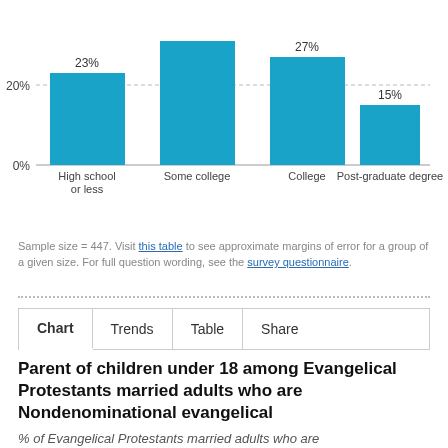[Figure (bar-chart): ]
Sample size = 447. Visit this table to see approximate margins of error for a group of a given size. For full question wording, see the survey questionnaire.
Chart | Trends | Table | Share
Parent of children under 18 among Evangelical Protestants married adults who are Nondenominational evangelical
% of Evangelical Protestants married adults who are